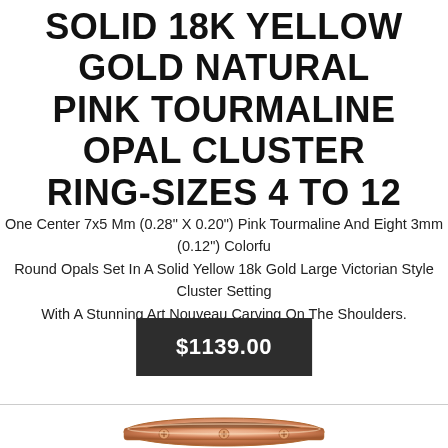SOLID 18K YELLOW GOLD NATURAL PINK TOURMALINE OPAL CLUSTER RING-SIZES 4 TO 12
One Center 7x5 Mm (0.28" X 0.20") Pink Tourmaline And Eight 3mm (0.12") Colorful Round Opals Set In A Solid Yellow 18k Gold Large Victorian Style Cluster Setting With A Stunning Art Nouveau Carving On The Shoulders.
$1139.00
[Figure (photo): A rose gold band ring (similar to Cartier Love style) with screw motif decorations visible on the band, shown at an angle against a white background.]